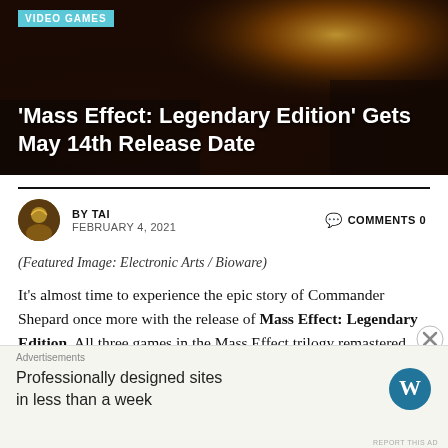[Figure (photo): Hero image for Mass Effect Legendary Edition article, dark atmospheric background with warm orange/amber tones]
'Mass Effect: Legendary Edition' Gets May 14th Release Date
BY TAI   FEBRUARY 4, 2021   COMMENTS 0
(Featured Image: Electronic Arts / Bioware)
It’s almost time to experience the epic story of Commander Shepard once more with the release of Mass Effect: Legendary Edition. All three games in the Mass Effect trilogy remastered and optimized,
[Figure (other): WordPress advertisement banner: 'Professionally designed sites in less than a week' with WordPress logo]